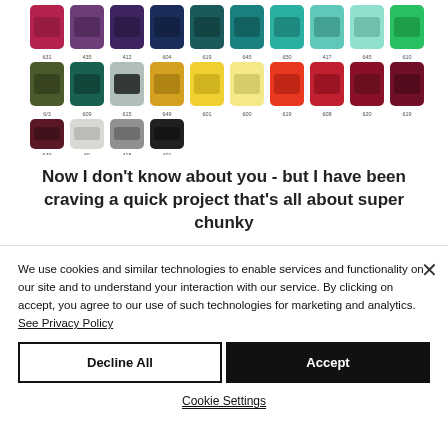[Figure (photo): Grid of colorful yarn skeins displayed in rows with color code labels beneath each skein. Colors include pinks, purples, blues, teals, greens, yellows, reds, and neutrals.]
Now I don't know about you - but I have been craving a quick project that's all about super chunky...
We use cookies and similar technologies to enable services and functionality on our site and to understand your interaction with our service. By clicking on accept, you agree to our use of such technologies for marketing and analytics. See Privacy Policy
Decline All
Accept
Cookie Settings